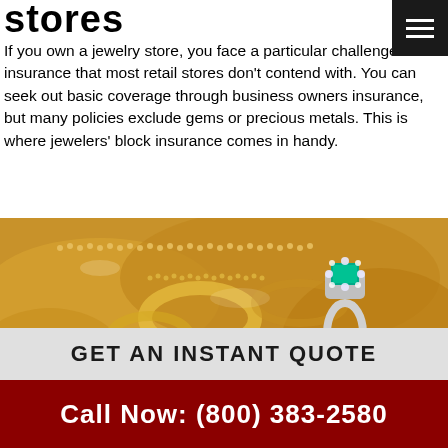stores
If you own a jewelry store, you face a particular challenge in insurance that most retail stores don't contend with. You can seek out basic coverage through business owners insurance, but many policies exclude gems or precious metals. This is where jewelers' block insurance comes in handy.
[Figure (photo): Close-up photo of gold jewelry including chains, rings with diamonds and an emerald gemstone on yellow gold setting]
GET AN INSTANT QUOTE
Call Now: (800) 383-2580